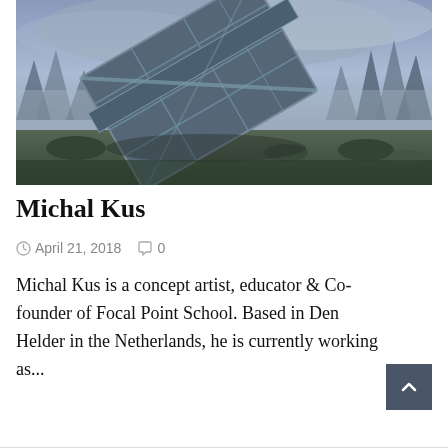[Figure (illustration): Fantasy concept art showing a large tilted metallic/mechanical structure or crashed spacecraft in a misty alien landscape with tall rocky spires and dramatic cloudy sky]
Michal Kus
April 21, 2018   0
Michal Kus is a concept artist, educator & Co-founder of Focal Point School. Based in Den Helder in the Netherlands, he is currently working as...